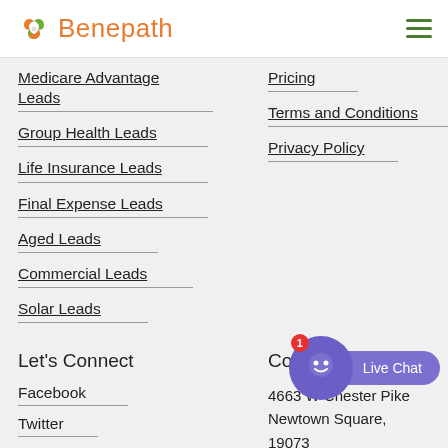Benepath
Medicare Advantage Leads
Group Health Leads
Life Insurance Leads
Final Expense Leads
Aged Leads
Commercial Leads
Solar Leads
Pricing
Terms and Conditions
Privacy Policy
Let's Connect
Facebook
Twitter
LinkedIn
Contact Us
4663 W Chester Pike
Newtown Square,
19073
866-368-0377